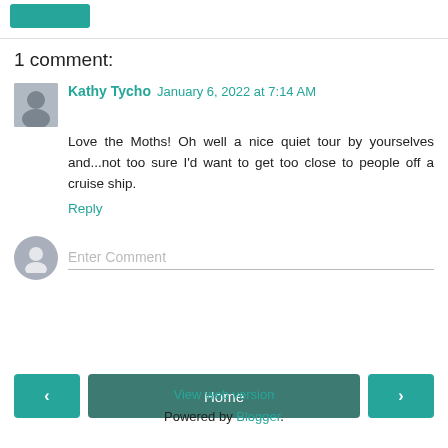1 comment:
Kathy Tycho January 6, 2022 at 7:14 AM
Love the Moths! Oh well a nice quiet tour by yourselves and...not too sure I'd want to get too close to people off a cruise ship.
Reply
Enter Comment
Home
View web version
Powered by Blogger.